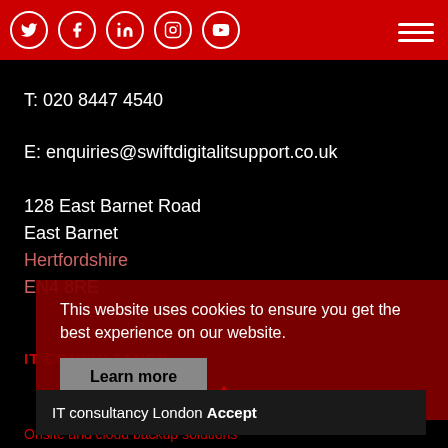Social media icons and hamburger menu on red bar
T: 020 8447 4540
E: enquiries@swiftdigitalitsupport.co.uk
128 East Barnet Road
East Barnet
Hertfordshire
EN4 8RE
This website uses cookies to ensure you get the best experience on our website.
Learn more
IT CONSULTANCY
IT consultancy London Accept
Onsite and cloud backup solutions